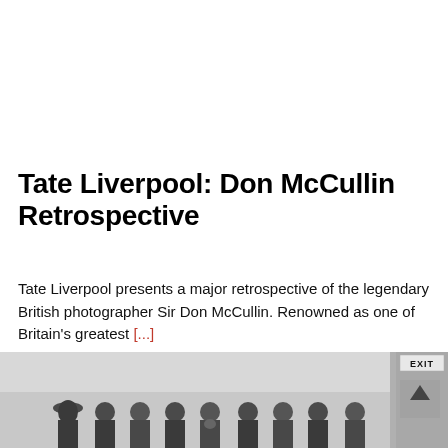Tate Liverpool: Don McCullin Retrospective
Tate Liverpool presents a major retrospective of the legendary British photographer Sir Don McCullin. Renowned as one of Britain's greatest [...]
[Figure (photo): Black and white photograph of a group of approximately 8-9 men standing together, with an EXIT sign visible in the upper right corner of the image. A navigation arrow button is overlaid on the right side of the photo.]